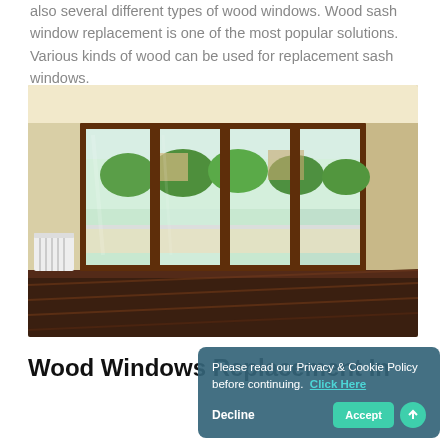also several different types of wood windows. Wood sash window replacement is one of the most popular solutions. Various kinds of wood can be used for replacement sash windows.
[Figure (photo): Interior room with large four-panel wood-framed sliding/French doors opening to a balcony with a green outdoor view, white walls, a white radiator on the left, and dark hardwood flooring.]
Wood Windows Replacement In...
Please read our Privacy & Cookie Policy before continuing. Click Here